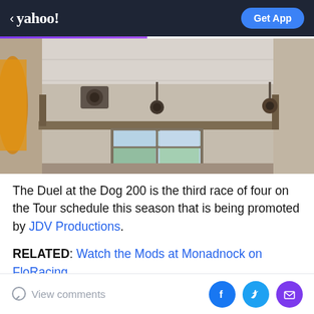< yahoo!   Get App
[Figure (photo): Interior room photo showing ceiling, a curtain rod or bar mounted horizontally, a small fan on the wall, pendant speakers, a window with light coming through, whitish paneled walls and ceiling, and an orange/gold lamp shade on the left side.]
The Duel at the Dog 200 is the third race of four on the Tour schedule this season that is being promoted by JDV Productions.
RELATED: Watch the Mods at Monadnock on FloRacing
The NASCAR Whelen Modified Tour has competed at Monadnock 13 times, with the Tour initially visiting the
View comments